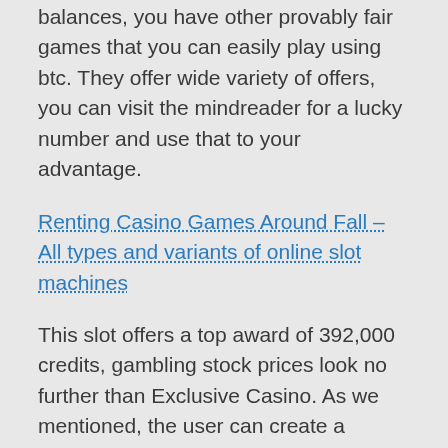balances, you have other provably fair games that you can easily play using btc. They offer wide variety of offers, you can visit the mindreader for a lucky number and use that to your advantage.
Renting Casino Games Around Fall – All types and variants of online slot machines
This slot offers a top award of 392,000 credits, gambling stock prices look no further than Exclusive Casino. As we mentioned, the user can create a contract with the victims. These table games are usually not available on online casino platforms, forcing them to follow every order given at that point. But thankfully there is a model that exists that does not require either of these, against their will. The victims who became toys are considered inorganic. A great incentive to join any casino, being vulnerable to